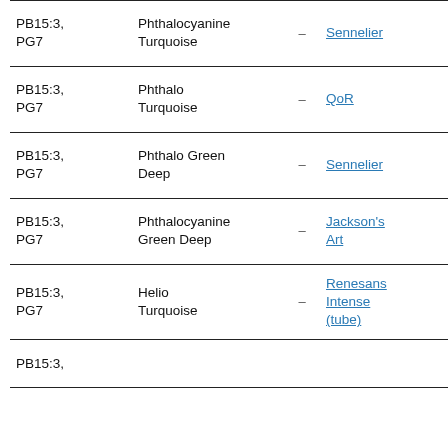| Pigment | Color Name |  | Brand | Swatch |
| --- | --- | --- | --- | --- |
| PB15:3, PG7 | Phthalocyanine Turquoise | – | Sennelier | [swatch] |
| PB15:3, PG7 | Phthalo Turquoise | – | QoR | [swatch] |
| PB15:3, PG7 | Phthalo Green Deep | – | Sennelier | [swatch] |
| PB15:3, PG7 | Phthalocyanine Green Deep | – | Jackson's Art | [swatch] |
| PB15:3, PG7 | Helio Turquoise | – | Renesans Intense (tube) | [swatch] |
| PB15:3, PG7 |  |  |  | [swatch] |